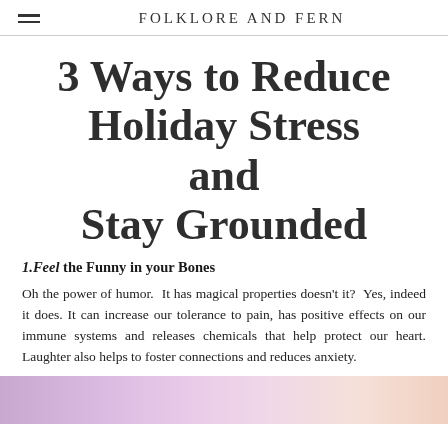FOLKLORE AND FERN
3 Ways to Reduce Holiday Stress and Stay Grounded
1.Feel the Funny in your Bones
Oh the power of humor.  It has magical properties doesn't it?  Yes, indeed it does. It can increase our tolerance to pain, has positive effects on our immune systems and releases chemicals that help protect our heart. Laughter also helps to foster connections and reduces anxiety.
[Figure (photo): A soft gradient image strip with purple, pink, and peach tones at the bottom of the page]